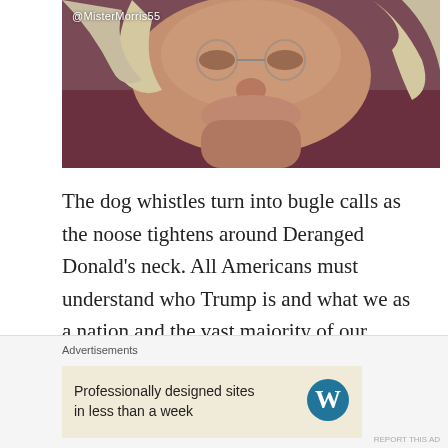[Figure (photo): Close-up photo of an older person's face with white/blonde hair, wearing a dark reddish-purple shirt. Watermark '@MisterMorris55' in white text top-left corner.]
The dog whistles turn into bugle calls as the noose tightens around Deranged Donald's neck. All Americans must understand who Trump is and what we as a nation and the vast majority of our citizenry are up against. We must come to grips that Trump has never been more than the paper tiger king in this battle. The Joe Exotic of American politics propped up by a supporting cast of deplorable characters.
Advertisements
Professionally designed sites in less than a week